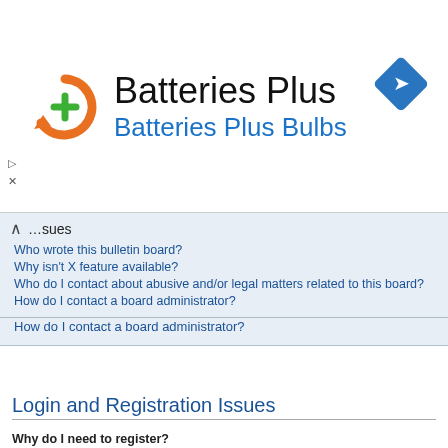[Figure (logo): Batteries Plus logo with orange circular arrow and green plus sign]
Batteries Plus
Batteries Plus Bulbs
[Figure (other): Blue diamond navigation/directions icon]
Who wrote this bulletin board?
Why isn't X feature available?
Who do I contact about abusive and/or legal matters related to this board?
How do I contact a board administrator?
Login and Registration Issues
Why do I need to register?
You may not have to, it is up to the administrator of the board as to whether you need to register in order to post messages. However; registration will give you access to additional features not available to guest users such as definable avatar images, private messaging, emailing of fellow users, usergroup subscription, etc. It only takes a few moments to register so it is recommended you do so.
Κορυφή
What is COPPA?
COPPA, or the Children's Online Privacy Protection Act of 1998, is a law in the United States...